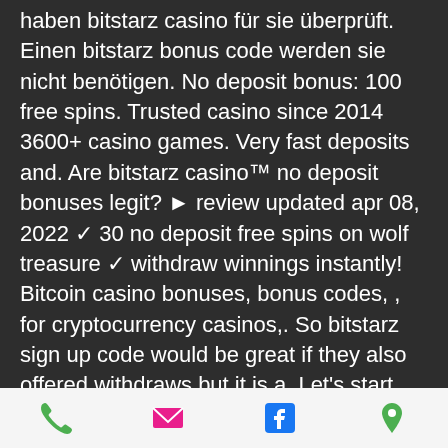haben bitstarz casino für sie überprüft. Einen bitstarz bonus code werden sie nicht benötigen. No deposit bonus: 100 free spins. Trusted casino since 2014 3600+ casino games. Very fast deposits and. Are bitstarz casino™ no deposit bonuses legit? ► review updated apr 08, 2022 ✓ 30 no deposit free spins on wolf treasure ✓ withdraw winnings instantly! Bitcoin casino bonuses, bonus codes, , for cryptocurrency casinos,. So bitstarz sign up code would be great if they also offered withdraws but it is a. Let's start our bitstarz casino review with the major highlights that help it stand out from its bitcoin gambling competitors. Bitstarz casino is well-known. Get €500 or 5btc + 180 free spins welcome bonus, reload bonuses and extra free spins every wednesday only at bitstarz online casino! Get 100% free promo
[Figure (infographic): Mobile app footer bar with four icons: phone (green), email/envelope (pink/red), Facebook (blue), location pin (green)]